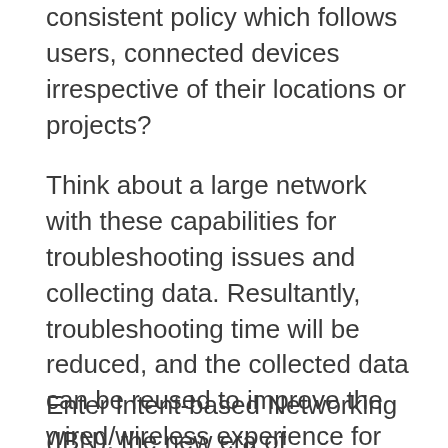consistent policy which follows users, connected devices irrespective of their locations or projects?
Think about a large network with these capabilities for troubleshooting issues and collecting data. Resultantly, troubleshooting time will be reduced, and the collected data can be reused to improve the wired/wireless experience for students and researchers. As connected devices proliferate, new opportunities spur and so do new challenges. Research anticipates that, by the end of 2025, there will be 25 billion connected devices which will heavily impact traditional infrastructures in terms of dealing with configuration, compliance, and security.
Enter Intent-based Networking (IBN), the new era of networking which, ...